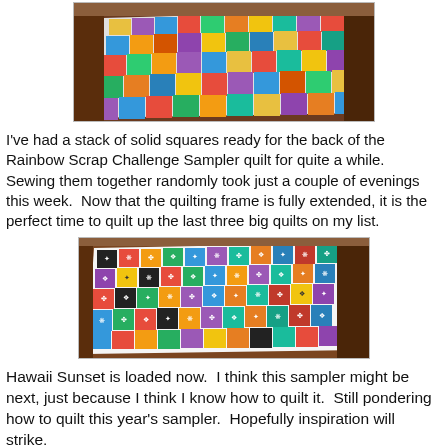[Figure (photo): Colorful patchwork quilt with solid squares in many colors laid out on a wooden floor, viewed from above at an angle.]
I've had a stack of solid squares ready for the back of the Rainbow Scrap Challenge Sampler quilt for quite a while.  Sewing them together randomly took just a couple of evenings this week.  Now that the quilting frame is fully extended, it is the perfect time to quilt up the last three big quilts on my list.
[Figure (photo): A Rainbow Scrap Challenge Sampler quilt with many colorful patchwork blocks laid out on a wooden floor, viewed from above at an angle.]
Hawaii Sunset is loaded now.  I think this sampler might be next, just because I think I know how to quilt it.  Still pondering how to quilt this year's sampler.  Hopefully inspiration will strike.